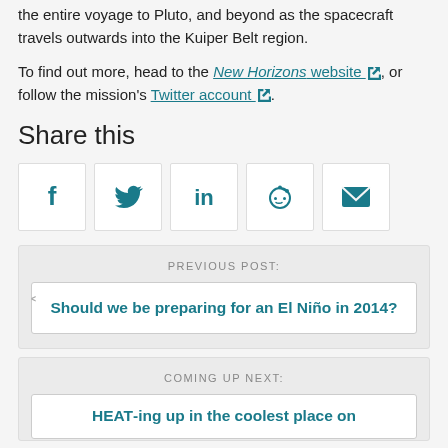the entire voyage to Pluto, and beyond as the spacecraft travels outwards into the Kuiper Belt region.
To find out more, head to the New Horizons website, or follow the mission's Twitter account.
Share this
[Figure (infographic): Share icons row: Facebook, Twitter, LinkedIn, Reddit, Email]
PREVIOUS POST:
Should we be preparing for an El Niño in 2014?
COMING UP NEXT:
HEAT-ing up in the coolest place on